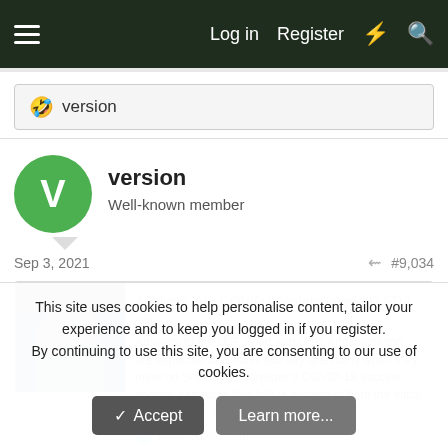Log in  Register
🤣 version
version
Well-known member
Sep 3, 2021  #9,034
[Figure (screenshot): Thumbnail image of a person receiving a vaccine injection]
Analysis: Are COVID boosters needed? FDA vac...
Advisers to the U.S. Food and Drug Administration are expected to discuss two key questions when they meet on Sept. 17 to consider a COVID-19 vaccine booster campaign this fall: Is protection from the initial shots waning, and will boosters help?
www.reuters.com
This site uses cookies to help personalise content, tailor your experience and to keep you logged in if you register.
By continuing to use this site, you are consenting to our use of cookies.